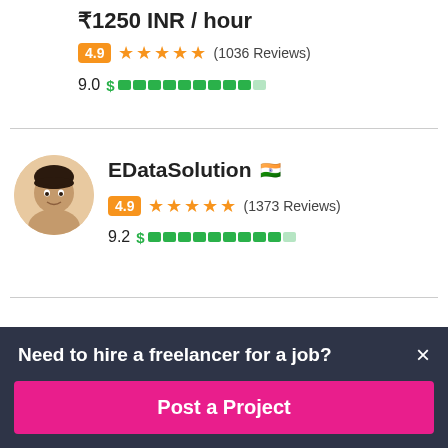₹1250 INR / hour
4.9 ★★★★★ (1036 Reviews)
9.0 $ ▓▓▓▓▓▓▓▓▓░
EDataSolution 🇮🇳
4.9 ★★★★★ (1373 Reviews)
9.2 $ ▓▓▓▓▓▓▓▓▓░
Need to hire a freelancer for a job?
Post a Project